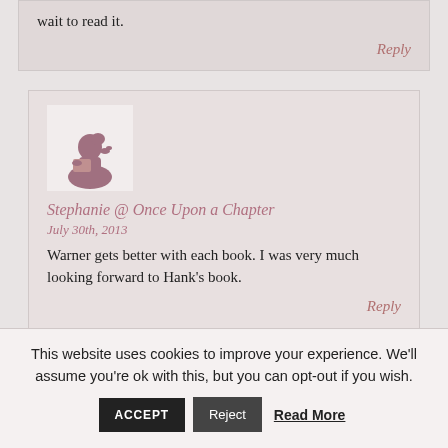wait to read it.
Reply
[Figure (illustration): Silhouette of a woman reading a book, in mauve/dusty rose color on a light background]
Stephanie @ Once Upon a Chapter
July 30th, 2013
Warner gets better with each book. I was very much looking forward to Hank's book.
Reply
This website uses cookies to improve your experience. We'll assume you're ok with this, but you can opt-out if you wish.
ACCEPT
Reject
Read More